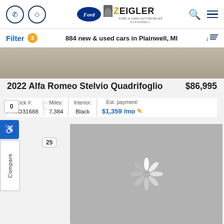[Figure (screenshot): Zeigler Ford Plainwell dealership website header with phone icon, directions icon, Ford oval logo, Zeigler logo with person silhouette, search icon, and hamburger menu icon]
Filter 3   884 new & used cars in Plainwell, MI
[Figure (photo): Car roof/road texture banner image in tan/beige tones]
2022 Alfa Romeo Stelvio Quadrifoglio
$86,995
Stock #: PN7D31688 | Miles: 7,384 | Interior: Black | Est. payment: $1,359 /mo
[Figure (photo): Loading spinner on gray background indicating car image is loading]